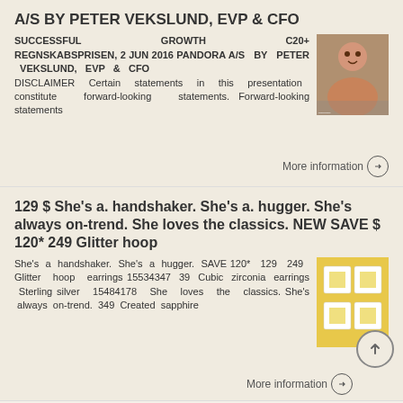A/S BY PETER VEKSLUND, EVP & CFO
SUCCESSFUL GROWTH C20+ REGNSKABSPRISEN, 2 JUN 2016 PANDORA A/S BY PETER VEKSLUND, EVP & CFO DISCLAIMER Certain statements in this presentation constitute forward-looking statements. Forward-looking statements
[Figure (photo): Photo of a woman]
More information →
129 $ She's a. handshaker. She's a. hugger. She's always on-trend. She loves the classics. NEW SAVE $ 120* 249 Glitter hoop
She's a handshaker. She's a hugger. SAVE 120* 129 249 Glitter hoop earrings 15534347 39 Cubic zirconia earrings Sterling silver 15484178 She loves the classics. She's always on-trend. 349 Created sapphire
[Figure (photo): Photo of jewelry boxes with yellow packaging]
More information →